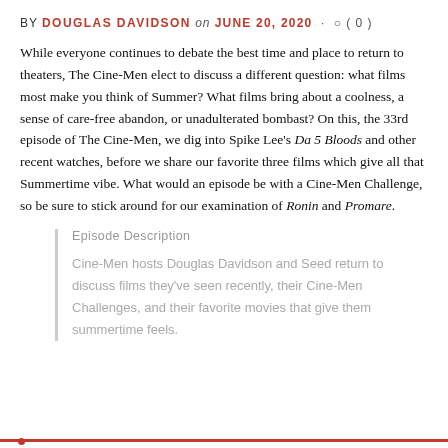BY DOUGLAS DAVIDSON on JUNE 20, 2020 · ○ ( 0 )
While everyone continues to debate the best time and place to return to theaters, The Cine-Men elect to discuss a different question: what films most make you think of Summer? What films bring about a coolness, a sense of care-free abandon, or unadulterated bombast? On this, the 33rd episode of The Cine-Men, we dig into Spike Lee's Da 5 Bloods and other recent watches, before we share our favorite three films which give all that Summertime vibe. What would an episode be with a Cine-Men Challenge, so be sure to stick around for our examination of Ronin and Promare.
Episode Description
Cine-Men hosts Douglas Davidson and Seed return to discuss films they've seen recently, their Cine-Men Challenges, and their favorite movies that give them summertime feels.